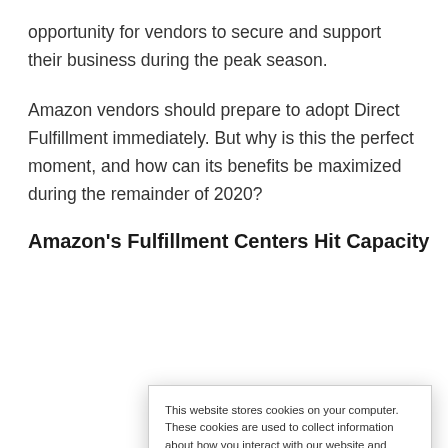opportunity for vendors to secure and support their business during the peak season.
Amazon vendors should prepare to adopt Direct Fulfillment immediately. But why is this the perfect moment, and how can its benefits be maximized during the remainder of 2020?
Amazon's Fulfillment Centers Hit Capacity
This website stores cookies on your computer. These cookies are used to collect information about how you interact with our website and allow us to remember you. We use this information in order to improve and customize your browsing experience and for analytics and metrics about our visitors both on this website and other media. To find out more about the cookies we use, see our Privacy Policy. California residents have the right to direct us not to sell their personal information to third parties by filing an Opt-Out Request: Do Not Sell My Personal Info.
Accept